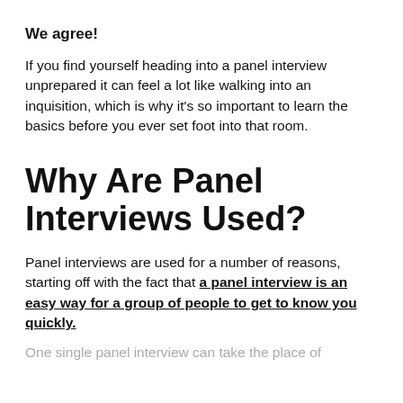We agree!
If you find yourself heading into a panel interview unprepared it can feel a lot like walking into an inquisition, which is why it's so important to learn the basics before you ever set foot into that room.
Why Are Panel Interviews Used?
Panel interviews are used for a number of reasons, starting off with the fact that a panel interview is an easy way for a group of people to get to know you quickly.
One single panel interview can take the place of